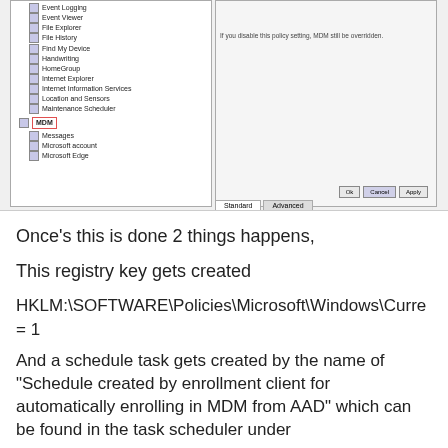[Figure (screenshot): Windows Group Policy Editor screenshot showing a tree list on the left with MDM highlighted in a red box, and a dialog panel on the right with policy settings and OK/Cancel/Apply buttons]
Once’s this is done 2 things happens,
This registry key gets created
HKLM:\SOFTWARE\Policies\Microsoft\Windows\Curre
= 1
And a schedule task gets created by the name of “Schedule created by enrollment client for automatically enrolling in MDM from AAD” which can be found in the task scheduler under